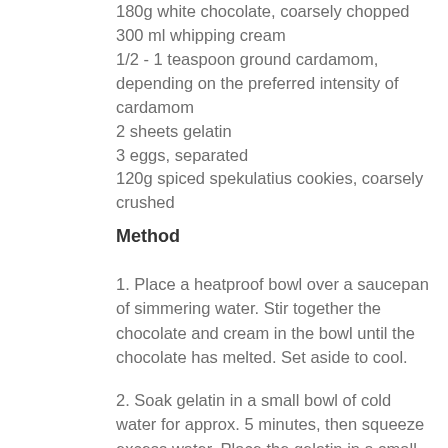180g white chocolate, coarsely chopped
300 ml whipping cream
1/2 - 1 teaspoon ground cardamom, depending on the preferred intensity of cardamom
2 sheets gelatin
3 eggs, separated
120g spiced spekulatius cookies, coarsely crushed
Method
1. Place a heatproof bowl over a saucepan of simmering water. Stir together the chocolate and cream in the bowl until the chocolate has melted. Set aside to cool.
2. Soak gelatin in a small bowl of cold water for approx. 5 minutes, then squeeze excess water. Place the gelatin in a small saucepan and